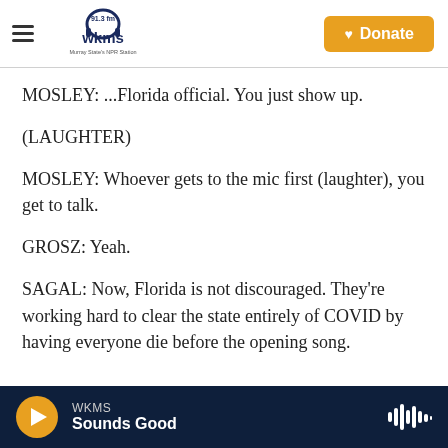WKMS 91.3 fm — Murray State's NPR Station | Donate
MOSLEY: ...Florida official. You just show up.
(LAUGHTER)
MOSLEY: Whoever gets to the mic first (laughter), you get to talk.
GROSZ: Yeah.
SAGAL: Now, Florida is not discouraged. They're working hard to clear the state entirely of COVID by having everyone die before the opening song.
WKMS — Sounds Good